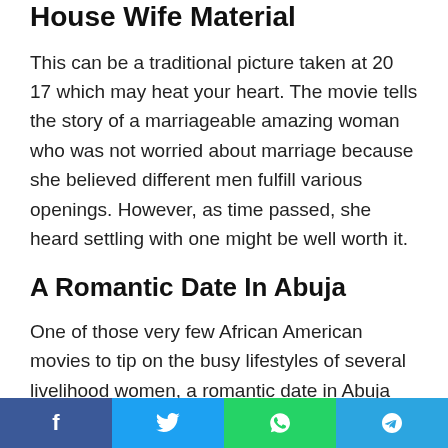House Wife Material
This can be a traditional picture taken at 20 17 which may heat your heart. The movie tells the story of a marriageable amazing woman who was not worried about marriage because she believed different men fulfill various openings. However, as time passed, she heard settling with one might be well worth it.
A Romantic Date In Abuja
One of those very few African American movies to tip on the busy lifestyles of several livelihood women, a romantic date in Abuja informs the narrative of a tough minded woman who works too hard. She’s too busy with her career and does not
f  t  ®  ❯